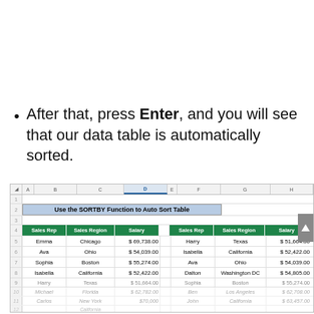After that, press Enter, and you will see that our data table is automatically sorted.
[Figure (screenshot): Excel spreadsheet screenshot showing the SORTBY function result. Headers row: A, B, C, D, E, F, G, H. Row 2 merged title: 'Use the SORTBY Function to Auto Sort Table'. Row 4: green headers 'Sales Rep', 'Sales Region', 'Salary' on left and right. Data rows showing original unsorted data (left) and sorted data (right).]